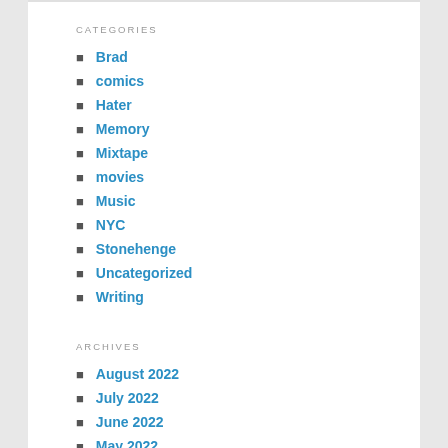CATEGORIES
Brad
comics
Hater
Memory
Mixtape
movies
Music
NYC
Stonehenge
Uncategorized
Writing
ARCHIVES
August 2022
July 2022
June 2022
May 2022
March 2022